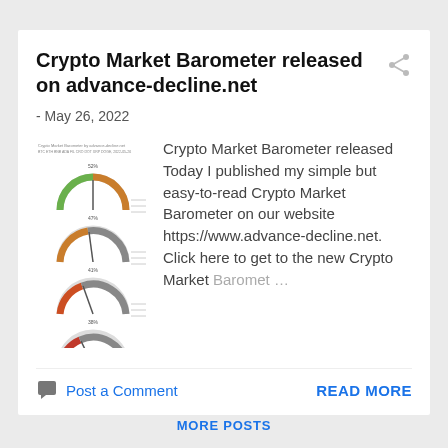Crypto Market Barometer released on advance-decline.net
- May 26, 2022
[Figure (other): Four gauge/meter charts showing crypto market barometer readings stacked vertically]
Crypto Market Barometer released Today I published my simple but easy-to-read Crypto Market Barometer on our website https://www.advance-decline.net. Click here to get to the new Crypto Market Barometer …
Post a Comment
READ MORE
MORE POSTS